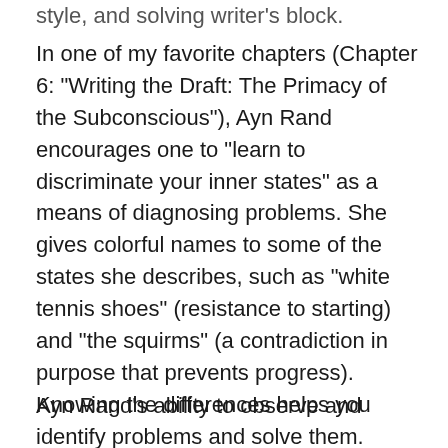style, and solving writer's block.
In one of my favorite chapters (Chapter 6: "Writing the Draft: The Primacy of the Subconscious"), Ayn Rand encourages one to "learn to discriminate your inner states" as a means of diagnosing problems. She gives colorful names to some of the states she describes, such as "white tennis shoes" (resistance to starting) and "the squirms" (a contradiction in purpose that prevents progress). Knowing the differences helps you identify problems and solve them.
Ayn Rand's ability to observe and